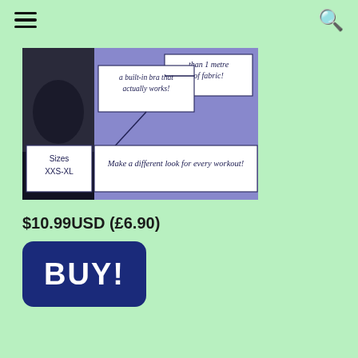Navigation bar with hamburger menu and search icon
[Figure (screenshot): Partial product image showing a purple/lavender infographic about a sportswear item. Visible text boxes include: 'a built-in bra that actually works!', 'than 1 metre of fabric!', 'Sizes XXS-XL', 'Make a different look for every workout!']
$10.99USD (£6.90)
BUY!